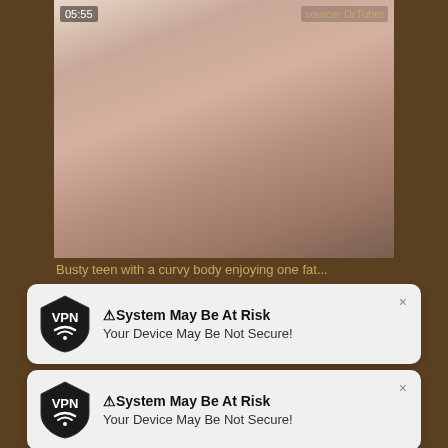[Figure (screenshot): Video thumbnail from DrTuber showing a close-up face, timestamp 05:55, source label DrTuber]
Busty teen with a curvy body enjoying one fat...
[Figure (screenshot): Browser notification popup with VPN shield icon: System May Be At Risk - Your Device May Be Not Secure!]
[Figure (screenshot): Second browser notification popup with VPN shield icon: System May Be At Risk - Your Device May Be Not Secure!]